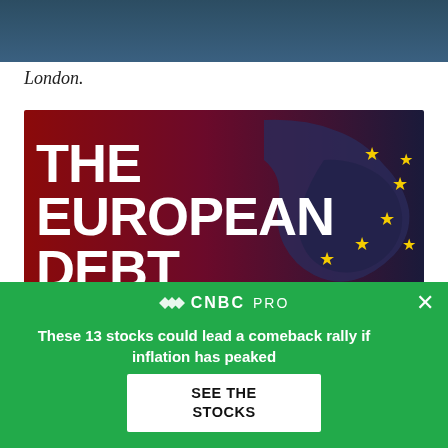London.
[Figure (infographic): Banner advertisement for CNBC's coverage of The European Debt Crisis. Red and dark background with EU map silhouette showing yellow stars. Large white bold text reads 'THE EUROPEAN DEBT CRISIS' with sub-text '» SEE COMPLETE COVERAGE']
[Figure (screenshot): CNBC PRO promotional overlay with green background. Shows CNBC PRO logo, text 'These 13 stocks could lead a comeback rally if inflation has peaked', and a white button labeled 'SEE THE STOCKS'. Has an X close button in top right.]